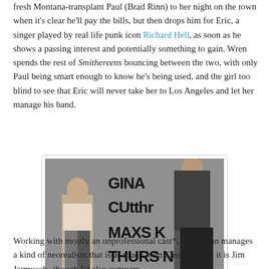fresh Montana-transplant Paul (Brad Rinn) to her night on the town when it's clear he'll pay the bills, but then drops him for Eric, a singer played by real life punk icon Richard Hell, as soon as he shows a passing interest and potentially something to gain. Wren spends the rest of Smithereens bouncing between the two, with only Paul being smart enough to know he's being used, and the girl too blind to see that Eric will never take her to Los Angeles and let her manage his band.
[Figure (photo): A still from the film Smithereens showing two people standing against a graffiti-covered wall. Graffiti reads: GINA CUtthr MAXS [K] THURS NI[GHT]. A woman in a floral top and checkered pants stands on the left; a man in a dark jacket stands on the right.]
Working with mostly an unprofessional cast*, Seidelman manages a kind of neorealism that is as much John Cassavetes as it is Jim Jarmusch--though I'd also compare